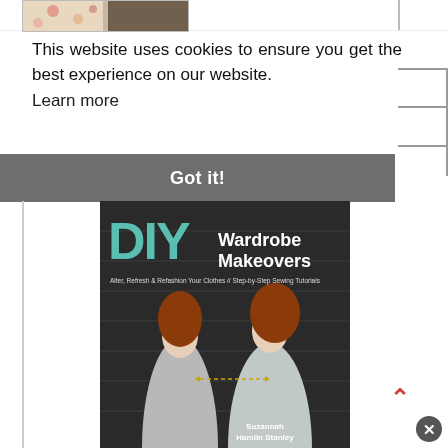[Figure (photo): Partial view of a person wearing a floral top, cropped at the top of the page]
This website uses cookies to ensure you get the best experience on our website. Learn more
Got it!
[Figure (photo): Book cover for 'DIY Wardrobe Makeovers' by Suzannah Hamlin Stanley. Shows two women standing against a dark brick wall wearing grey dresses/outfits. The title includes large teal/green 'DIY' letters and white text 'Wardrobe Makeovers'. Subtitle reads 'Alter, Refresh & Refashion Your Clothes // Step-by-Step Sewing Tutorials']